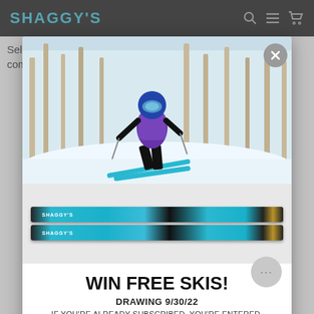SHAGGY'S
Select cut Northern Michigan Hardwoods, lightweight composites, and bombproof UHMW-PE sidewalls create
[Figure (photo): Modal popup over a retail website. Top portion shows a skier in purple jacket carving through snowy trees. Below that are two teal/turquoise Shaggy's branded ski graphics. Modal contains promotional text and form.]
WIN FREE SKIS!
DRAWING 9/30/22
IF YOU'RE ALREADY SUBSCRIBED, YOU'RE ENTERED.
First Name
Last Name